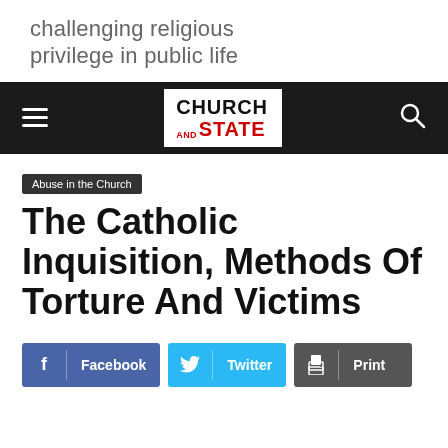challenging religious privilege in public life
[Figure (logo): Church and State website navigation bar with hamburger menu, Church and State logo, and search icon]
Abuse in the Church
The Catholic Inquisition, Methods Of Torture And Victims
Facebook | Twitter | Print